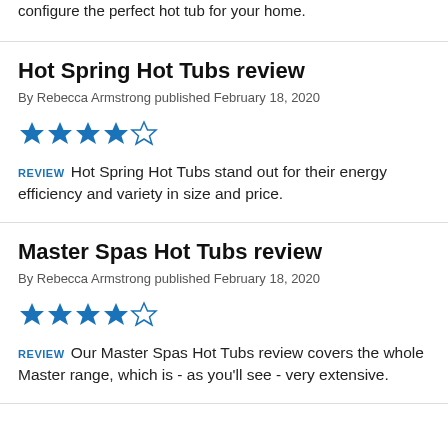configure the perfect hot tub for your home.
Hot Spring Hot Tubs review
By Rebecca Armstrong published February 18, 2020
[Figure (other): 4 out of 5 stars rating shown with blue filled stars and one empty star]
REVIEW   Hot Spring Hot Tubs stand out for their energy efficiency and variety in size and price.
Master Spas Hot Tubs review
By Rebecca Armstrong published February 18, 2020
[Figure (other): 4 out of 5 stars rating shown with blue filled stars and one empty star]
REVIEW   Our Master Spas Hot Tubs review covers the whole Master range, which is - as you'll see - very extensive.